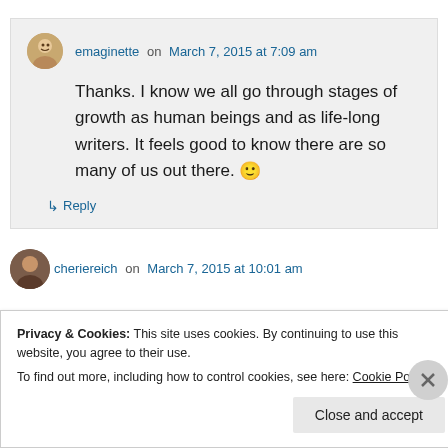emaginette on March 7, 2015 at 7:09 am
Thanks. I know we all go through stages of growth as human beings and as life-long writers. It feels good to know there are so many of us out there. 🙂
↳ Reply
cheriereich on March 7, 2015 at 10:01 am
Privacy & Cookies: This site uses cookies. By continuing to use this website, you agree to their use.
To find out more, including how to control cookies, see here: Cookie Policy
Close and accept